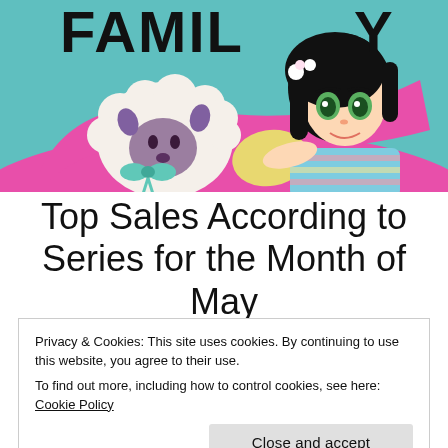[Figure (illustration): Manga-style illustration showing a girl with dark hair and green eyes lying on a pink surface next to a round white sheep with purple accents and a teal bow. The word 'FAMILY' is partially visible at the top in large bold black text on a teal background.]
Top Sales According to Series for the Month of May
Privacy & Cookies: This site uses cookies. By continuing to use this website, you agree to their use.
To find out more, including how to control cookies, see here: Cookie Policy
chart for the second consecutive month albeit a